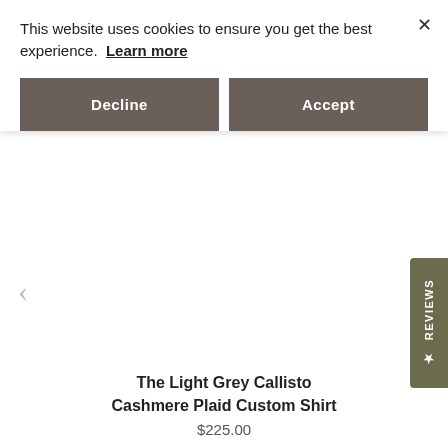This website uses cookies to ensure you get the best experience. Learn more
Decline
Accept
[Figure (screenshot): Reviews tab on right side of page, olive/dark green background with REVIEWS text rotated vertically and a star icon]
‹
›
The Light Grey Callisto Cashmere Plaid Custom Shirt
$225.00